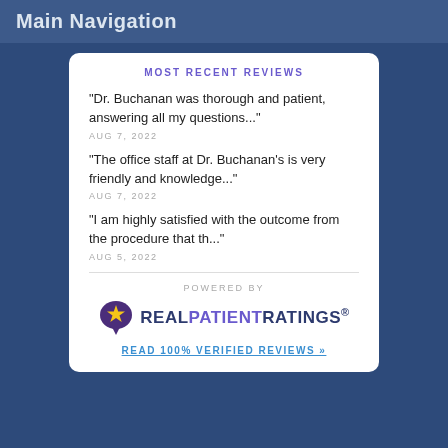Main Navigation
MOST RECENT REVIEWS
"Dr. Buchanan was thorough and patient, answering all my questions..."
AUG 7, 2022
"The office staff at Dr. Buchanan's is very friendly and knowledge..."
AUG 7, 2022
"I am highly satisfied with the outcome from the procedure that th..."
AUG 5, 2022
POWERED BY
[Figure (logo): Real Patient Ratings logo with purple speech bubble containing a yellow star]
READ 100% VERIFIED REVIEWS »